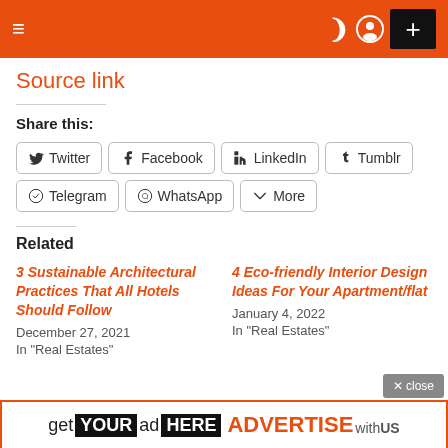Navigation bar with hamburger menu, moon icon, person icon, and plus button
Source link
Share this:
Twitter | Facebook | LinkedIn | Tumblr | Telegram | WhatsApp | More
Related
3 Sustainable Architectural Practices That All Hotels Should Follow
December 27, 2021
In "Real Estates"
4 Eco-friendly Interior Design Ideas For Your Apartment/flat
January 4, 2022
In "Real Estates"
get YOUR ad HERE ADVERTISE with US